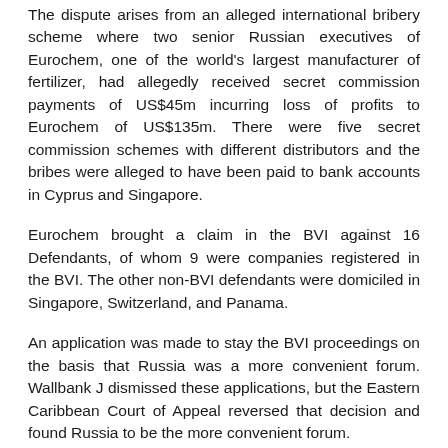The dispute arises from an alleged international bribery scheme where two senior Russian executives of Eurochem, one of the world's largest manufacturer of fertilizer, had allegedly received secret commission payments of US$45m incurring loss of profits to Eurochem of US$135m. There were five secret commission schemes with different distributors and the bribes were alleged to have been paid to bank accounts in Cyprus and Singapore.
Eurochem brought a claim in the BVI against 16 Defendants, of whom 9 were companies registered in the BVI. The other non-BVI defendants were domiciled in Singapore, Switzerland, and Panama.
An application was made to stay the BVI proceedings on the basis that Russia was a more convenient forum. Wallbank J dismissed these applications, but the Eastern Caribbean Court of Appeal reversed that decision and found Russia to be the more convenient forum.